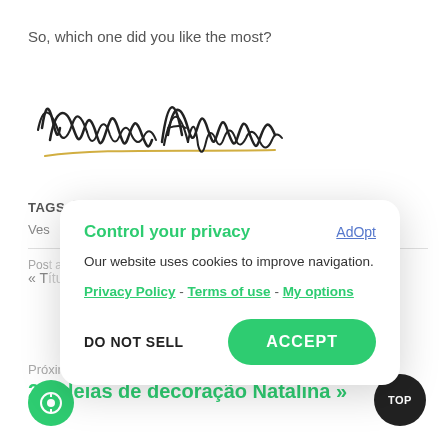So, which one did you like the most?
[Figure (illustration): Cursive signature reading 'Wanessa Almeida' with a decorative golden underline]
TAGS … -tura, Ves…
Pos…
« T…
Próximo post:
20 ideias de decoração Natalina »
Control your privacy
Our website uses cookies to improve navigation.
Privacy Policy - Terms of use - My options
DO NOT SELL   ACCEPT